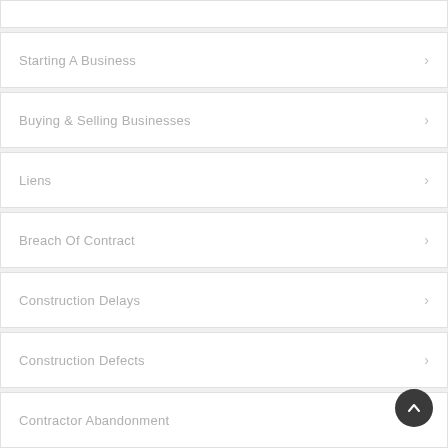Starting A Business
Buying & Selling Businesses
Liens
Breach Of Contract
Construction Delays
Construction Defects
Contractor Abandonment